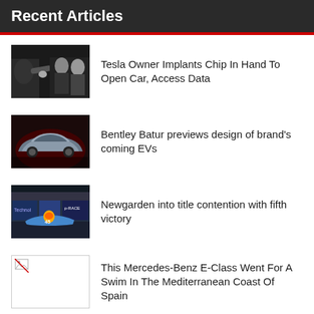Recent Articles
Tesla Owner Implants Chip In Hand To Open Car, Access Data
Bentley Batur previews design of brand's coming EVs
Newgarden into title contention with fifth victory
This Mercedes-Benz E-Class Went For A Swim In The Mediterranean Coast Of Spain